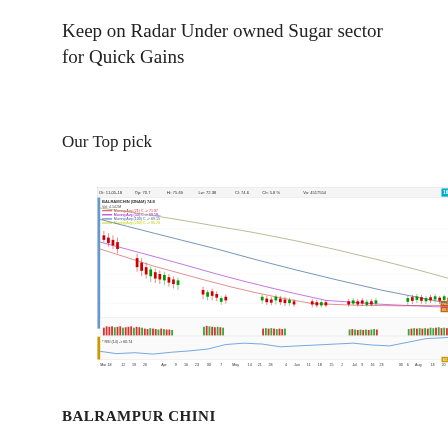Keep on Radar Under owned Sugar sector for Quick Gains
Our Top pick
[Figure (continuous-plot): Stock chart for BALRAMPUR CHINI (DNAM) showing candlestick price data from March to August with moving averages (21, 50, 100, 200 day), volume bars, and RSI(14) indicator. Price range approximately 60-155. RSI shown at bottom panel around 60.74.]
BALRAMPUR CHINI